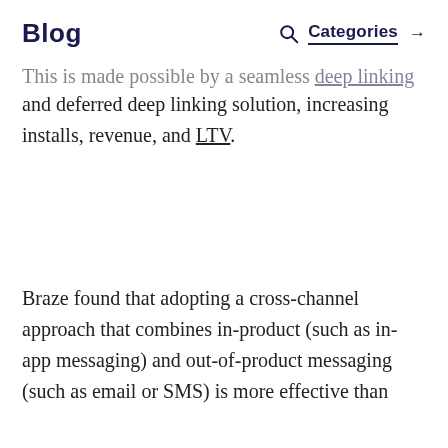Blog   Categories →
This is made possible by a seamless deep linking and deferred deep linking solution, increasing installs, revenue, and LTV.
Braze found that adopting a cross-channel approach that combines in-product (such as in-app messaging) and out-of-product messaging (such as email or SMS) is more effective than